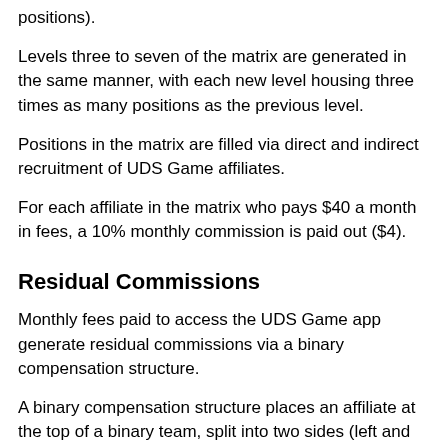positions).
Levels three to seven of the matrix are generated in the same manner, with each new level housing three times as many positions as the previous level.
Positions in the matrix are filled via direct and indirect recruitment of UDS Game affiliates.
For each affiliate in the matrix who pays $40 a month in fees, a 10% monthly commission is paid out ($4).
Residual Commissions
Monthly fees paid to access the UDS Game app generate residual commissions via a binary compensation structure.
A binary compensation structure places an affiliate at the top of a binary team, split into two sides (left and right):
[Figure (illustration): Partial view of a binary tree diagram showing the top node of a binary compensation structure, with a rounded square icon visible at the bottom of the page.]